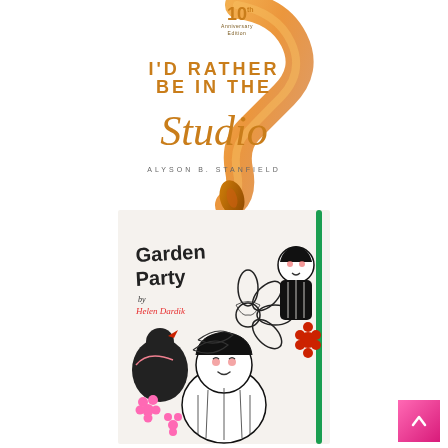[Figure (illustration): Book cover: 'I'd Rather Be in the Studio' 10th Anniversary Edition by Alyson B. Stanfield, with golden paintbrush swirl graphic and script lettering]
[Figure (illustration): Book/journal cover: 'Garden Party by Helen Dardik' featuring black and white illustrated characters with pink and red floral accents and a green elastic band]